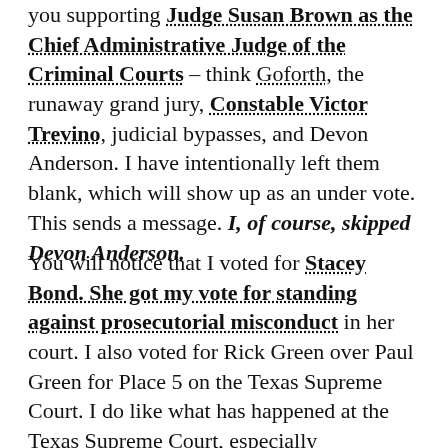you supporting Judge Susan Brown as the Chief Administrative Judge of the Criminal Courts – think Goforth, the runaway grand jury, Constable Victor Trevino, judicial bypasses, and Devon Anderson. I have intentionally left them blank, which will show up as an under vote. This sends a message. I, of course, skipped Devon Anderson.
You will notice that I voted for Stacey Bond. She got my vote for standing against prosecutorial misconduct in her court. I also voted for Rick Green over Paul Green for Place 5 on the Texas Supreme Court. I do like what has happened at the Texas Supreme Court, especially concerning the City of Houston cases like HERO. I previously wrote about Jim Leitner for Harris County Attorney. It makes no sense for his opponent, a five-year lawyer, to represent Harris County in all civil